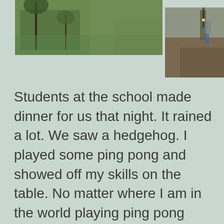[Figure (photo): Two photos at top of page: left photo shows a garden/green area with a tree or plant, right photo shows a person walking on a wet/muddy path in the rain]
Students at the school made dinner for us that night. It rained a lot. We saw a hedgehog. I played some ping pong and showed off my skills on the table. No matter where I am in the world playing ping pong there's always one certainty…Mike, you know what I'm talking about. Ate way too much ugali and promptly had a stomach ache. It was great being out in a quiet place and in a place that was basically free of people. Lots of bugs…. the largest moth known to man and some hedgehogs munching